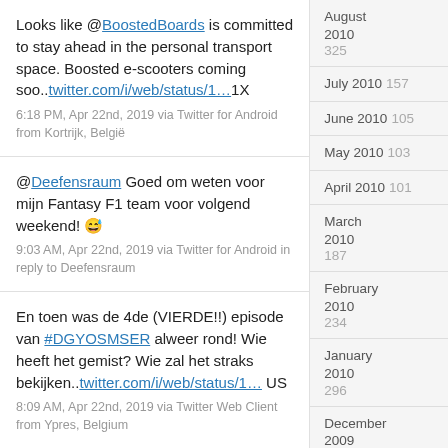Looks like @BoostedBoards is committed to stay ahead in the personal transport space. Boosted e-scooters coming soo..twitter.com/i/web/status/1…1X
6:18 PM, Apr 22nd, 2019 via Twitter for Android from Kortrijk, België
@Deefensraum Goed om weten voor mijn Fantasy F1 team voor volgend weekend! 😅
9:03 AM, Apr 22nd, 2019 via Twitter for Android in reply to Deefensraum
En toen was de 4de (VIERDE!!) episode van #DGYOSMSER alweer rond! Wie heeft het gemist? Wie zal het straks bekijken..twitter.com/i/web/status/1… US
8:09 AM, Apr 22nd, 2019 via Twitter Web Client from Ypres, Belgium
August 2010  325
July 2010  157
June 2010  105
May 2010  103
April 2010  101
March 2010  187
February 2010  234
January 2010  296
December 2009  196
November 2009  188
October 2009  299
September 2009  247